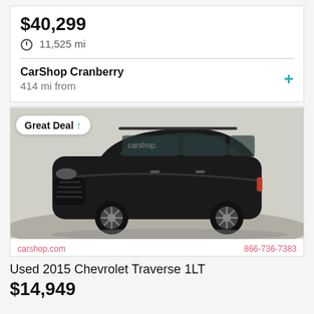$40,299
11,525 mi
CarShop Cranberry
414 mi from
[Figure (photo): Black Chevrolet Traverse SUV in a showroom with a 'Great Deal' badge overlay. CarShop branding visible. Footer shows carshop.com and 866-736-7383.]
Used 2015 Chevrolet Traverse 1LT
$14,949